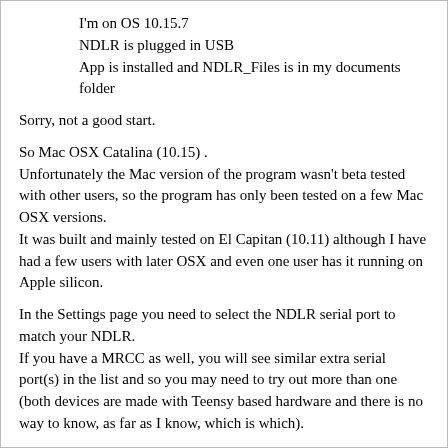I'm on OS 10.15.7
NDLR is plugged in USB
App is installed and NDLR_Files is in my documents folder
Sorry, not a good start.
So Mac OSX Catalina (10.15) .
Unfortunately the Mac version of the program wasn't beta tested with other users, so the program has only been tested on a few Mac OSX versions.
It was built and mainly tested on El Capitan (10.11) although I have had a few users with later OSX and even one user has it running on Apple silicon.
In the Settings page you need to select the NDLR serial port to match your NDLR.
If you have a MRCC as well, you will see similar extra serial port(s) in the list and so you may need to try out more than one
(both devices are made with Teensy based hardware and there is no way to know, as far as I know, which is which).
Your serial port selection is stored on disk so it might be better to restart the program after the serial port selection.
When you first start using the Library program it just has the NDLR Load and Save and the hard disk Load and Save along with drag and dropping elements from the Resource area to rearrange  or build a new